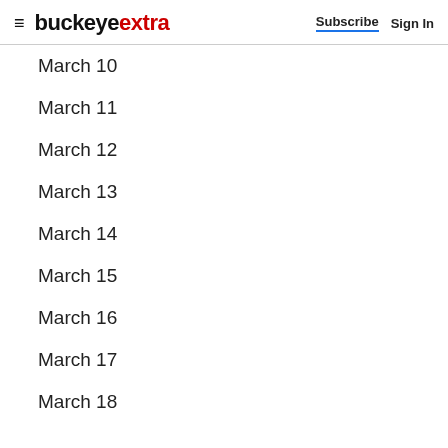buckeyextra  Subscribe  Sign In
March 10
March 11
March 12
March 13
March 14
March 15
March 16
March 17
March 18